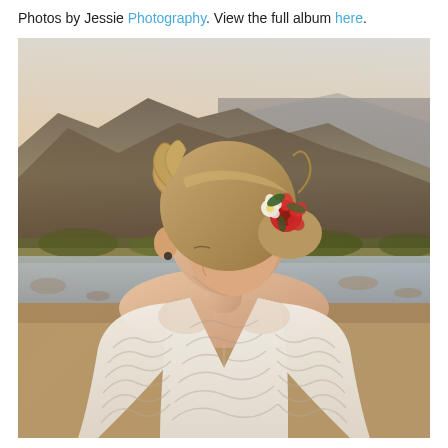Photos by Jessie Photography. View the full album here.
[Figure (photo): A bride seen from behind, wearing a low-back lace wedding dress with geometric wave pattern, hair in an updo with red and white flowers, looking down. Background shows a mountain range and a river in warm sunset light.]